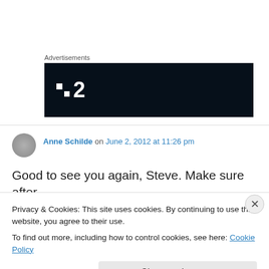Advertisements
[Figure (logo): Dark navy advertisement block with white squares icon and number 2]
Anne Schilde on June 2, 2012 at 11:26 pm
Good to see you again, Steve. Make sure after
Privacy & Cookies: This site uses cookies. By continuing to use this website, you agree to their use.
To find out more, including how to control cookies, see here: Cookie Policy
Close and accept